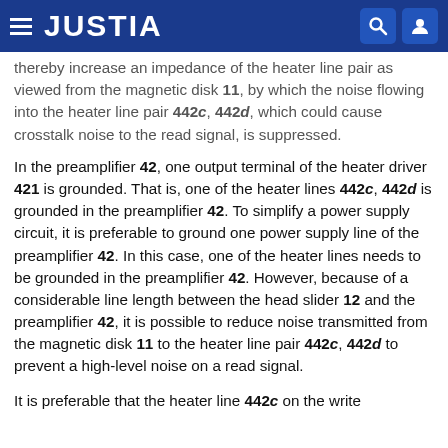JUSTIA
thereby increase an impedance of the heater line pair as viewed from the magnetic disk 11, by which the noise flowing into the heater line pair 442c, 442d, which could cause crosstalk noise to the read signal, is suppressed.
In the preamplifier 42, one output terminal of the heater driver 421 is grounded. That is, one of the heater lines 442c, 442d is grounded in the preamplifier 42. To simplify a power supply circuit, it is preferable to ground one power supply line of the preamplifier 42. In this case, one of the heater lines needs to be grounded in the preamplifier 42. However, because of a considerable line length between the head slider 12 and the preamplifier 42, it is possible to reduce noise transmitted from the magnetic disk 11 to the heater line pair 442c, 442d to prevent a high-level noise on a read signal.
It is preferable that the heater line 442c on the write